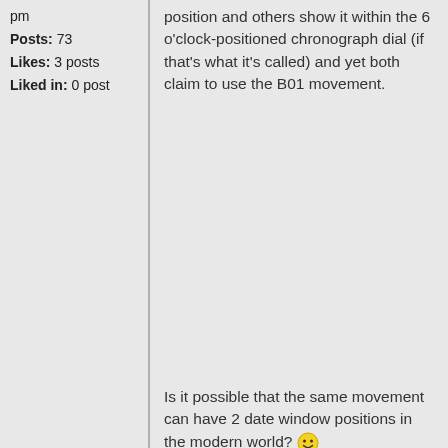pm
Posts: 73
Likes: 3 posts
Liked in: 0 post
position and others show it within the 6 o'clock-positioned chronograph dial (if that's what it's called) and yet both claim to use the B01 movement.
Is it possible that the same movement can have 2 date window positions in the modern world? :D Or is it a mistake?
One review I read said that the date window could be changed but I haven't read that anywhere else.